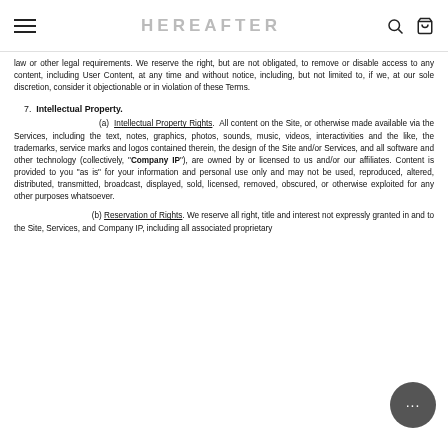HEREAFTER
law or other legal requirements. We reserve the right, but are not obligated, to remove or disable access to any content, including User Content, at any time and without notice, including, but not limited to, if we, at our sole discretion, consider it objectionable or in violation of these Terms.
7. Intellectual Property.
(a) Intellectual Property Rights. All content on the Site, or otherwise made available via the Services, including the text, notes, graphics, photos, sounds, music, videos, interactivities and the like, the trademarks, service marks and logos contained therein, the design of the Site and/or Services, and all software and other technology (collectively, "Company IP"), are owned by or licensed to us and/or our affiliates. Content is provided to you "as is" for your information and personal use only and may not be used, reproduced, altered, distributed, transmitted, broadcast, displayed, sold, licensed, removed, obscured, or otherwise exploited for any other purposes whatsoever.
(b) Reservation of Rights. We reserve all right, title and interest not expressly granted in and to the Site, Services, and Company IP, including all associated proprietary